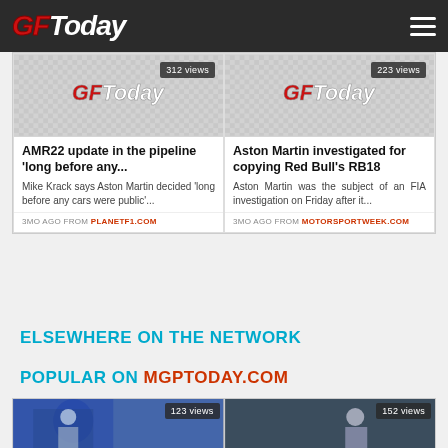GFToday
[Figure (screenshot): GFToday placeholder thumbnail with 312 views badge]
AMR22 update in the pipeline 'long before any...
Mike Krack says Aston Martin decided 'long before any cars were public'...
3MO AGO FROM PLANETF1.COM
[Figure (screenshot): GFToday placeholder thumbnail with 223 views badge]
Aston Martin investigated for copying Red Bull's RB18
Aston Martin was the subject of an FIA investigation on Friday after it...
3MO AGO FROM MOTORSPORTWEEK.COM
ELSEWHERE ON THE NETWORK
POPULAR ON MGPTODAY.COM
[Figure (photo): Motorsport person at event, 123 views badge]
[Figure (photo): Motorsport person, 152 views badge]